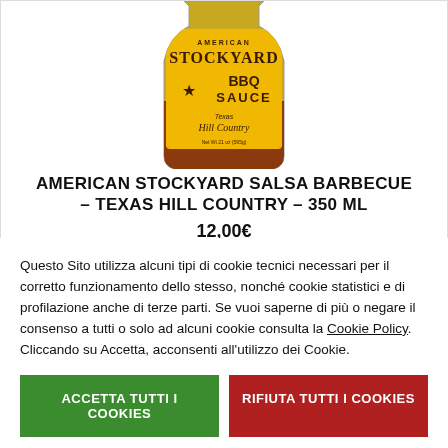[Figure (photo): A bottle of American Stockyard BBQ Sauce - Texas Hill Country, yellow label with dark text]
AMERICAN STOCKYARD SALSA BARBECUE – TEXAS HILL COUNTRY – 350 ML
12,00€
Questo Sito utilizza alcuni tipi di cookie tecnici necessari per il corretto funzionamento dello stesso, nonché cookie statistici e di profilazione anche di terze parti. Se vuoi saperne di più o negare il consenso a tutti o solo ad alcuni cookie consulta la Cookie Policy. Cliccando su Accetta, acconsenti all'utilizzo dei Cookie.
ACCETTA TUTTI I COOKIES
RIFIUTA TUTTI I COOKIES